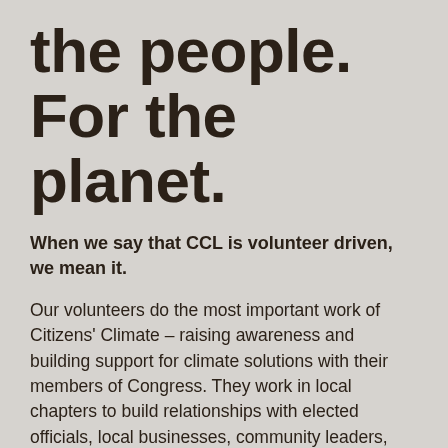the people. For the planet.
When we say that CCL is volunteer driven, we mean it.
Our volunteers do the most important work of Citizens' Climate – raising awareness and building support for climate solutions with their members of Congress. They work in local chapters to build relationships with elected officials, local businesses, community leaders, and media.
Citizens' Climate Lobby (CCL) and Citizens' Climate Education (CCE) support our volunteers across the broad spectrum of their work. CCE is a registered